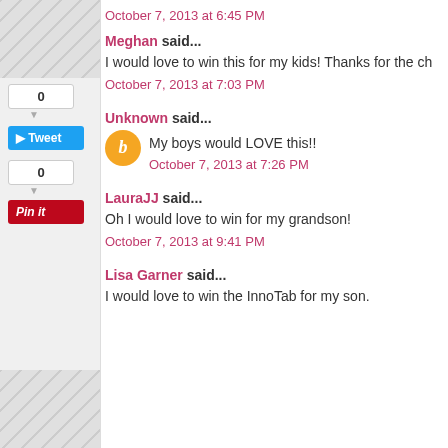October 7, 2013 at 6:45 PM
Meghan said...
I would love to win this for my kids! Thanks for the ch
October 7, 2013 at 7:03 PM
Unknown said...
My boys would LOVE this!!
October 7, 2013 at 7:26 PM
LauraJJ said...
Oh I would love to win for my grandson!
October 7, 2013 at 9:41 PM
Lisa Garner said...
I would love to win the InnoTab for my son.